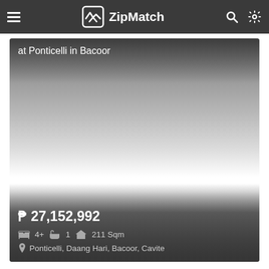ZipMatch
[Figure (photo): Property listing photo for 'at Ponticelli in Bacoor' showing a house exterior with gradient overlay. Bottom overlay displays price and property details.]
at Ponticelli in Bacoor
₱ 27,152,992
4+  1  211 Sqm
Ponticelli, Daang Hari, Bacoor, Cavite